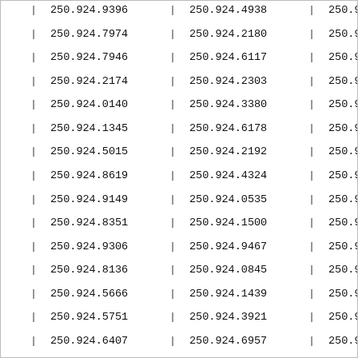| Col1 | Col2 | Col3 |
| --- | --- | --- |
| 250.924.9396 | 250.924.4938 | 250.924.7975 |
| 250.924.7974 | 250.924.2180 | 250.924.4499 |
| 250.924.7946 | 250.924.6117 | 250.924.2147 |
| 250.924.2174 | 250.924.2303 | 250.924.0704 |
| 250.924.0140 | 250.924.3380 | 250.924.3981 |
| 250.924.1345 | 250.924.6178 | 250.924.3614 |
| 250.924.5015 | 250.924.2192 | 250.924.5792 |
| 250.924.8619 | 250.924.4324 | 250.924.2040 |
| 250.924.9149 | 250.924.0535 | 250.924.8763 |
| 250.924.8351 | 250.924.1500 | 250.924.1800 |
| 250.924.9306 | 250.924.9467 | 250.924.0530 |
| 250.924.8136 | 250.924.0845 | 250.924.3928 |
| 250.924.5666 | 250.924.1439 | 250.924.3113 |
| 250.924.5751 | 250.924.3921 | 250.924.2816 |
| 250.924.6407 | 250.924.6957 | 250.924.3946 |
| 250.924.1146 | 250.924.1432 | 250.924.4561 |
| 250.924.2293 | 250.924.8360 | 250.924.3126 |
| 250.924.1661 | 250.924.4839 | 250.924.9958 |
| 250.924.???? | 250.924.???? | 250.924.???? |